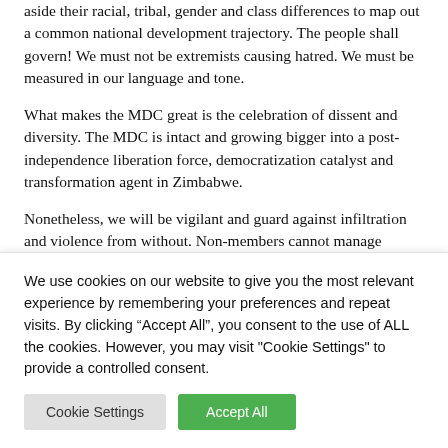aside their racial, tribal, gender and class differences to map out a common national development trajectory. The people shall govern! We must not be extremists causing hatred. We must be measured in our language and tone.
What makes the MDC great is the celebration of dissent and diversity. The MDC is intact and growing bigger into a post-independence liberation force, democratization catalyst and transformation agent in Zimbabwe.
Nonetheless, we will be vigilant and guard against infiltration and violence from without. Non-members cannot manage internal affairs.
We are aware that our competition is working through the witching hours and burning the midnight oil to see the upcoming congress in disarray and to destroy the people's party and throw into jeopardy.
The MDC will never allow defeat to visit its congress. The people are...
We use cookies on our website to give you the most relevant experience by remembering your preferences and repeat visits. By clicking “Accept All”, you consent to the use of ALL the cookies. However, you may visit "Cookie Settings" to provide a controlled consent.